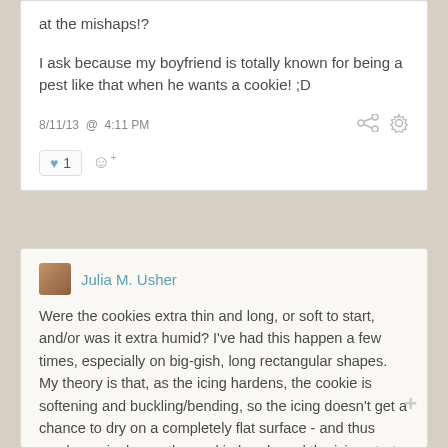at the mishaps!?
I ask because my boyfriend is totally known for being a pest like that when he wants a cookie! ;D
8/11/13 @ 4:11 PM
1
Julia M. Usher
Were the cookies extra thin and long, or soft to start, and/or was it extra humid? I've had this happen a few times, especially on big-gish, long rectangular shapes. My theory is that, as the icing hardens, the cookie is softening and buckling/bending, so the icing doesn't get a chance to dry on a completely flat surface - and thus cracks or ripples as the cookie bends and the icing starts setting up. I've pretty much eliminated this